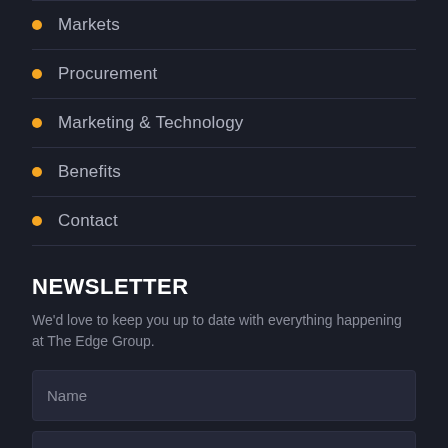Markets
Procurement
Marketing & Technology
Benefits
Contact
NEWSLETTER
We'd love to keep you up to date with everything happening at The Edge Group.